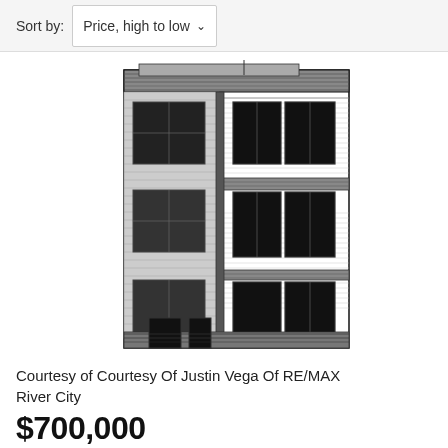Sort by: Price, high to low
[Figure (illustration): Black and white architectural elevation drawing of a multi-story brick building facade showing multiple windows, fire escapes, and detailed brickwork.]
Courtesy of Courtesy Of Justin Vega Of RE/MAX River City
$700,000